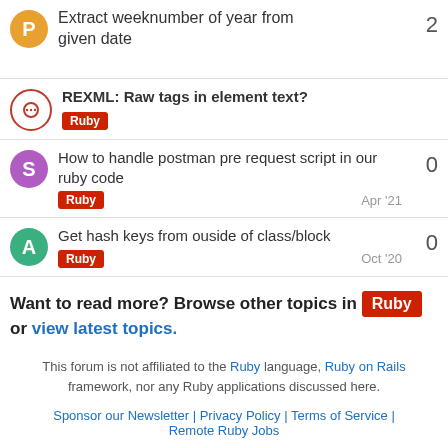Extract weeknumber of year from given date | replies: 2
REXML: Raw tags in element text? | tag: Ruby
How to handle postman pre request script in our ruby code | tag: Ruby | date: Apr '21 | replies: 0
Get hash keys from ouside of class/block | tag: Ruby | date: Oct '20 | replies: 0
Want to read more? Browse other topics in Ruby or view latest topics.
This forum is not affiliated to the Ruby language, Ruby on Rails framework, nor any Ruby applications discussed here.
Sponsor our Newsletter | Privacy Policy | Terms of Service | Remote Ruby Jobs